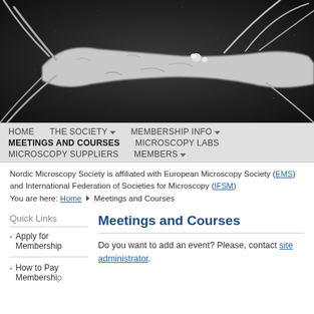[Figure (photo): Scanning electron microscope image of a cell with elongated projections/filopodia against a dark background]
HOME   THE SOCIETY ▼   MEMBERSHIP INFO ▼
MEETINGS AND COURSES   MICROSCOPY LABS
MICROSCOPY SUPPLIERS   MEMBERS ▼
Nordic Microscopy Society is affiliated with European Microscopy Society (EMS) and International Federation of Societies for Microscopy (IFSM)
You are here: Home ▶ Meetings and Courses
Quick Links
Meetings and Courses
Apply for Membership
How to Pay Membership
Do you want to add an event? Please, contact site administrator.